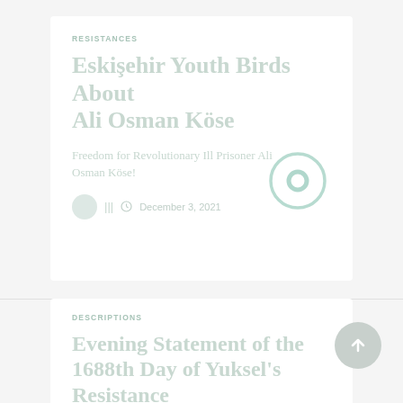RESISTANCES
Eskişehir Youth Birds About Ali Osman Köse
Freedom for Revolutionary Ill Prisoner Ali Osman Köse!
December 3, 2021
DESCRIPTIONS
Evening Statement of the 1688th Day of Yuksel's Resistance